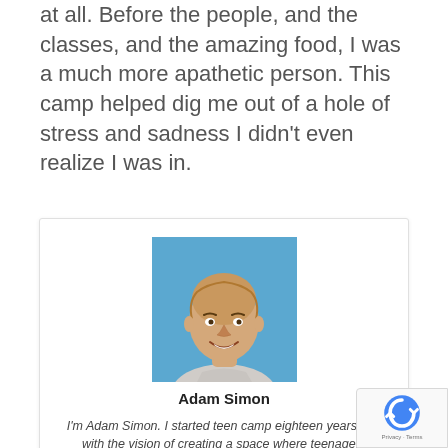at all. Before the people, and the classes, and the amazing food, I was a much more apathetic person. This camp helped dig me out of a hole of stress and sadness I didn't even realize I was in.
[Figure (photo): Headshot of a middle-aged bald man smiling, wearing a light gray t-shirt, against a blue background]
Adam Simon
I'm Adam Simon. I started teen camp eighteen years ago with the vision of creating a space where teenagers